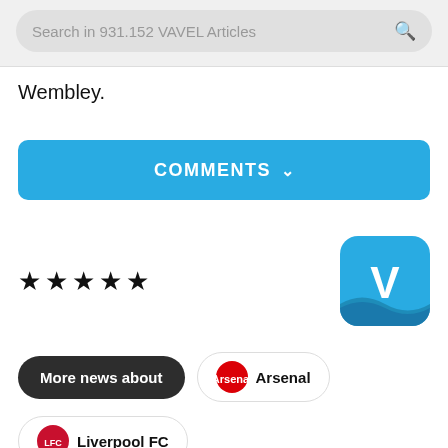Search in 931.152 VAVEL Articles
Wembley.
COMMENTS
[Figure (other): Five black star rating icons followed by VAVEL logo (blue square with white V)]
More news about
Arsenal
Liverpool FC